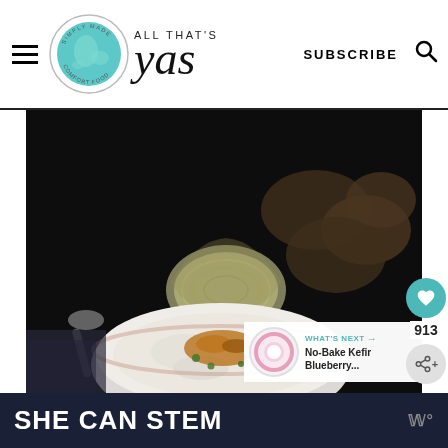ALL THAT'S yas — SUBSCRIBE
[Figure (photo): Dark moody food photo showing a white bowl of mashed potatoes topped with caramelized onions and parsley, with a halved onion and potatoes in the background, a spoon to the left]
913
WHAT'S NEXT → No-Bake Kefir Blueberry...
SHE CAN STEM